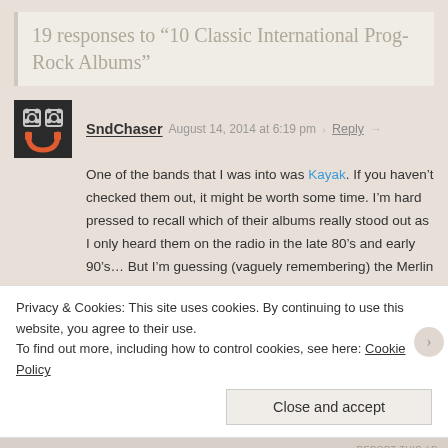19 responses to “10 Classic International Prog-Rock Albums”
One of the bands that I was into was Kayak. If you haven’t checked them out, it might be worth some time. I’m hard pressed to recall which of their albums really stood out as I only heard them on the radio in the late 80’s and early 90’s… But I’m guessing (vaguely remembering) the Merlin album. I have one of their albums at home, but I don’t recognize in the discogs listing.
★ Like
Privacy & Cookies: This site uses cookies. By continuing to use this website, you agree to their use.
To find out more, including how to control cookies, see here: Cookie Policy
Close and accept
REPORT THIS AD